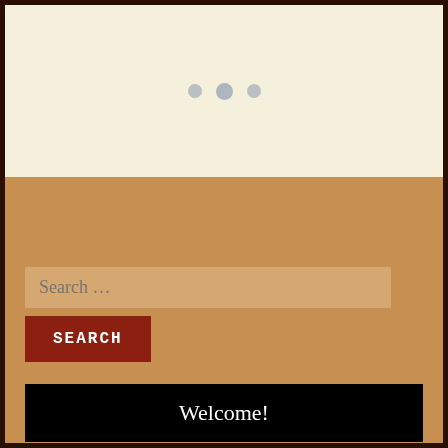[Figure (other): Top cream/beige panel with three small gray dots arranged horizontally in the center, resembling a loading indicator or decorative element.]
Search …
SEARCH
Welcome!
Whisky 101: Smooth (Part two)
Whisky 101: Smooth (Part one)
Scotch 101: What is NAS?
Cocktails: Part One – The Night's Top 10 Cocktails…